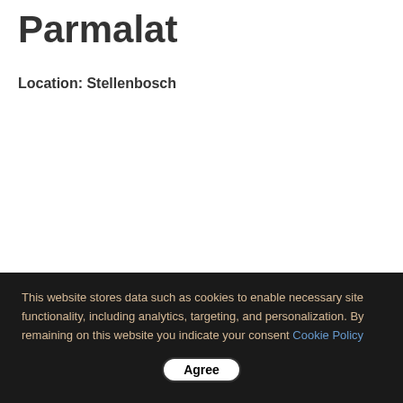Parmalat
Location: Stellenbosch
This website stores data such as cookies to enable necessary site functionality, including analytics, targeting, and personalization. By remaining on this website you indicate your consent Cookie Policy Agree